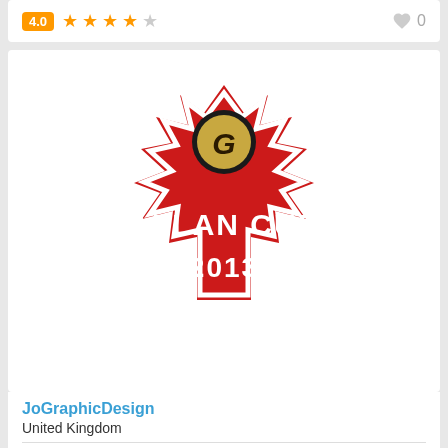[Figure (other): Top partial card showing rating row with 4.0 orange badge, 4 filled stars and 1 empty star, heart icon and 0 count]
[Figure (logo): Allan Cup 2013 logo - red maple leaf shape with white outline, gold G letter in black circle at top, white text ALLAN CUP 2013]
JoGraphicDesign
United Kingdom
[Figure (other): Rating row: orange 4.0 badge, 4 filled orange stars and 1 empty star, heart icon and 0 count]
[Figure (other): Bottom partial card showing red hockey cup logo partially visible from bottom]